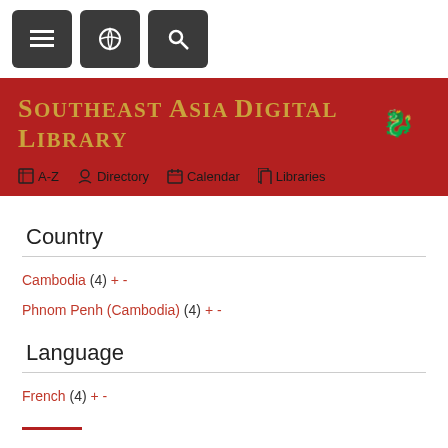Navigation bar with menu, link, and search buttons
[Figure (logo): Southeast Asia Digital Library logo with decorative dragon icon on red banner background, with navigation links: A-Z, Directory, Calendar, Libraries]
Country
Cambodia (4) + -
Phnom Penh (Cambodia) (4) + -
Language
French (4) + -